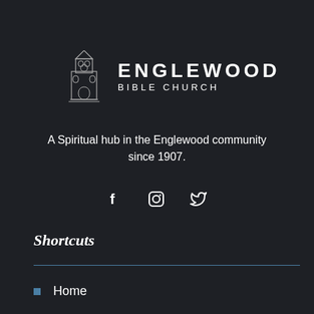[Figure (logo): Englewood Bible Church logo with church tower icon and text]
A Spiritual hub in the Englewood community since 1907.
[Figure (infographic): Social media icons: Facebook (f), Instagram, Twitter]
Shortcuts
Home